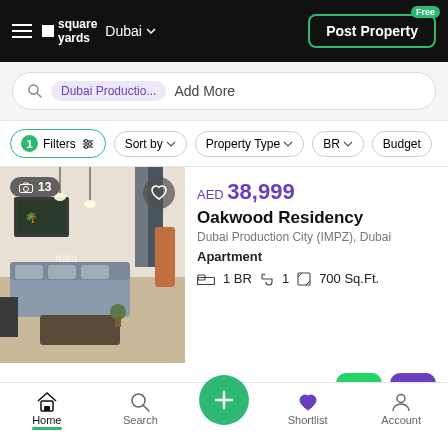square yards | Dubai | Post Property Free
Dubai Productio... Add More
1 Filters | Sort by | Property Type | BR | Budget
[Figure (photo): Interior photo of an apartment living room with sofa, coffee table, pendant lights, and curtains. Badge showing 13 photos.]
AED 38,999
Oakwood Residency
Dubai Production City (IMPZ), Dubai
Apartment
1 BR  1  700 Sq.Ft.
TAQ Global
Home  Search  +  Shortlist  Account